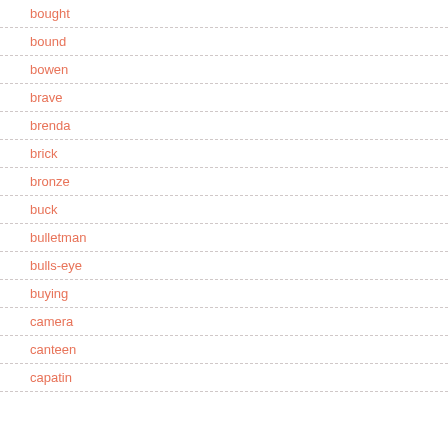bought
bound
bowen
brave
brenda
brick
bronze
buck
bulletman
bulls-eye
buying
camera
canteen
capatin